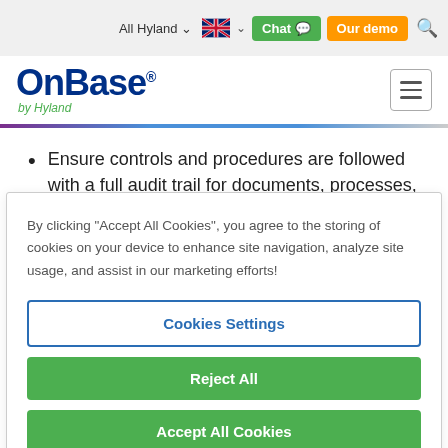[Figure (screenshot): Website top navigation bar with 'All Hyland' dropdown, UK flag, Chat button (green), Our demo button (orange), and search icon (green)]
[Figure (logo): OnBase by Hyland logo — dark blue bold text with registered mark, green italic 'by Hyland' beneath]
Ensure controls and procedures are followed with a full audit trail for documents, processes,
By clicking "Accept All Cookies", you agree to the storing of cookies on your device to enhance site navigation, analyze site usage, and assist in our marketing efforts!
Cookies Settings
Reject All
Accept All Cookies